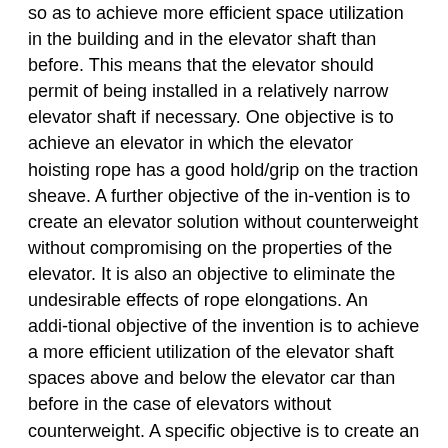so as to achieve more efficient space utilization in the building and in the elevator shaft than before. This means that the elevator should permit of being installed in a relatively narrow elevator shaft if necessary. One objective is to achieve an elevator in which the elevator hoisting rope has a good hold/grip on the traction sheave. A further objective of the in-vention is to create an elevator solution without counterweight without compromising on the properties of the elevator. It is also an objective to eliminate the undesirable effects of rope elongations. An addi-tional objective of the invention is to achieve a more efficient utilization of the elevator shaft spaces above and below the elevator car than before in the case of elevators without counterweight. A specific objective is to create an effective method of install-ing a traction sheave elevator without counterweight in an elevator shaft.
5
The objective or objectives of the invention should be achieved without compromising on the possibility of varying the basic layout of the elevator.